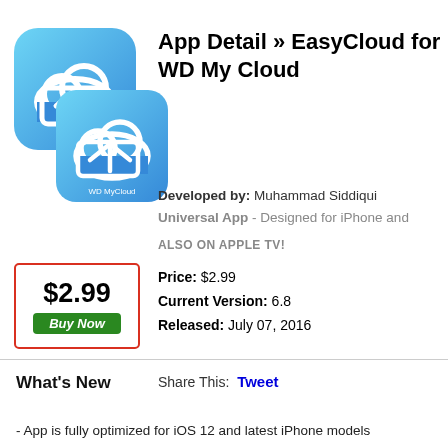[Figure (screenshot): App icon for EasyCloud for WD My Cloud — blue rounded square with white cloud and arrow logo, shown twice (main and secondary overlapping)]
App Detail » EasyCloud for WD My Cloud
Developed by: Muhammad Siddiqui
Universal App - Designed for iPhone and
ALSO ON APPLE TV!
$2.99 Buy Now
Price: $2.99
Current Version: 6.8
Released: July 07, 2016
Share This: Tweet
What's New
- App is fully optimized for iOS 12 and latest iPhone models